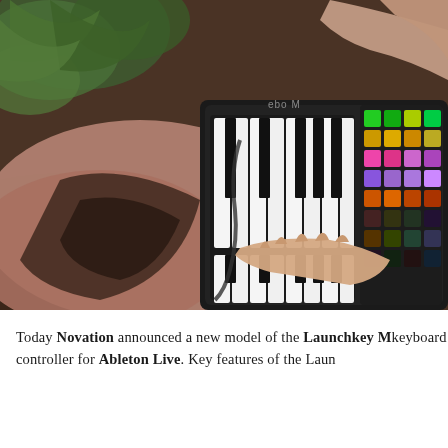[Figure (photo): Overhead/angled view of a person playing a Novation Launchkey MIDI keyboard controller. The keyboard has white and black piano keys on the left side and colorful illuminated RGB pads (green, yellow, pink, purple, orange) on the right side. The person's hands are pressing the keys. Green plant leaves are visible in the background upper area.]
Today Novation announced a new model of the Launchkey M keyboard controller for Ableton Live. Key features of the Laun